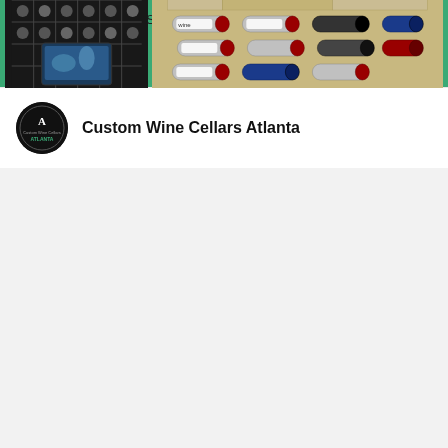172 Haynes Street SW, Unit 111, Atlanta, GA 30313
Send Message
[Figure (photo): Gallery of wine cellar photos showing curved wine racks, dark wall-mounted bottle racks, Custom Wine Cellars Atlanta logo, grid-style wine rack, and stone wall wine storage]
Custom Wine Cellars Atlanta